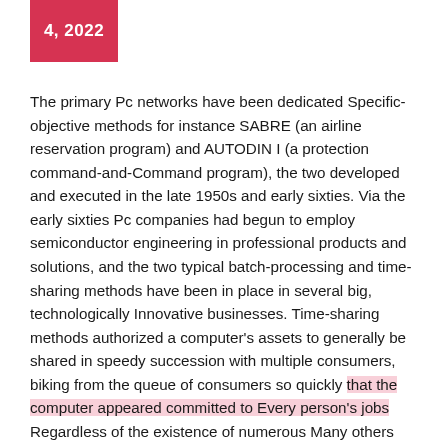4, 2022
The primary Pc networks have been dedicated Specific-objective methods for instance SABRE (an airline reservation program) and AUTODIN I (a protection command-and-Command program), the two developed and executed in the late 1950s and early sixties. Via the early sixties Pc companies had begun to employ semiconductor engineering in professional products and solutions, and the two typical batch-processing and time-sharing methods have been in place in several big, technologically Innovative businesses. Time-sharing methods authorized a computer’s assets to generally be shared in speedy succession with multiple consumers, biking from the queue of consumers so quickly that the computer appeared committed to Every person’s jobs Regardless of the existence of numerous Many others accessing the program “concurrently.” This led to the Idea of sharing Pc assets (termed host pcs or simply hosts).